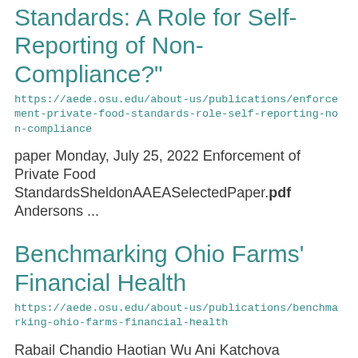Standards: A Role for Self-Reporting of Non-Compliance?"
https://aede.osu.edu/about-us/publications/enforcement-private-food-standards-role-self-reporting-non-compliance
paper Monday, July 25, 2022 Enforcement of Private Food StandardsSheldonAAEASelectedPaper.pdf Andersons ...
Benchmarking Ohio Farms' Financial Health
https://aede.osu.edu/about-us/publications/benchmarking-ohio-farms-financial-health
Rabail Chandio Haotian Wu Ani Katchova